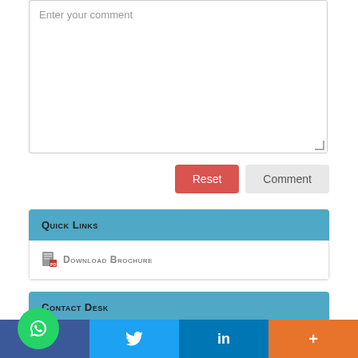[Figure (screenshot): Comment text area input box with placeholder text 'Enter your comment' and resize handle]
[Figure (screenshot): Reset (red) and Comment (gray) buttons]
Quick Links
Download Brochure
Contact Desk
Program Enquiry
rebecca Lienna
rialsnhysics@alliedconference.org
[Figure (logo): WhatsApp button icon]
[Figure (infographic): Social media bar with Facebook, Twitter, LinkedIn, and plus icons]